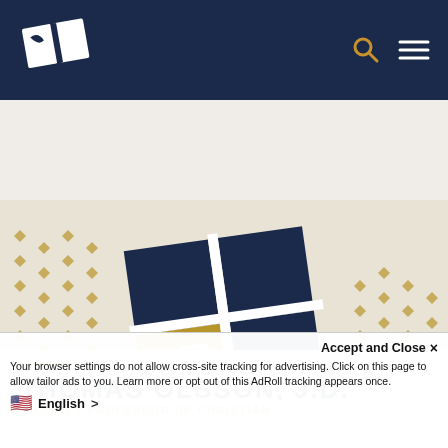[Figure (logo): University navigation bar with white cross/leaf logo on dark navy background, search icon and hamburger menu icon]
[Figure (logo): University hero banner image showing the university logo (four-square emblem with C letter) on a cream/beige background with gold diamond dot pattern]
THOMAS OLSSON, J.D.
ADJUNCT PROFESSOR OF CHRISTIAN
Accept and Close ×
Your browser settings do not allow cross-site tracking for advertising. Click on this page to allow tailor ads to you. Learn more or opt out of this AdRoll tracking appears once.
English >